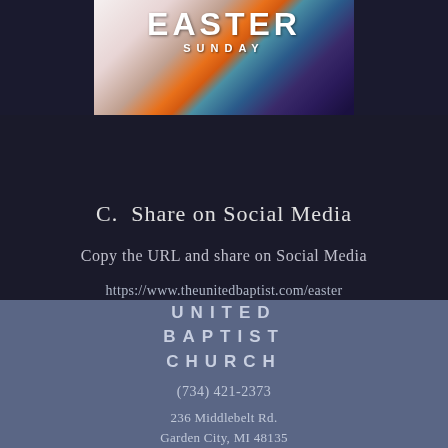[Figure (illustration): Easter Sunday promotional graphic with colorful abstract design including orange, teal, and dark blue/purple tones. Text reads EASTER in large bold white letters with SUNDAY beneath in spaced caps.]
C.  Share on Social Media
Copy the URL and share on Social Media
https://www.theunitedbaptist.com/easter
UNITED BAPTIST CHURCH
(734) 421-2373
236 Middlebelt Rd.
Garden City, MI 48135